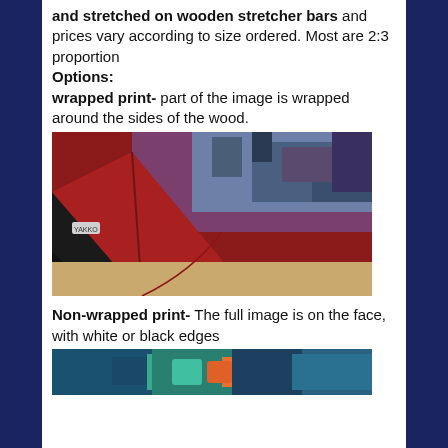and stretched on wooden stretcher bars and prices vary according to size ordered. Most are 2:3 proportion
Options:
wrapped print- part of the image is wrapped around the sides of the wood.
[Figure (photo): Close-up photo of a canvas print wrapped around wooden stretcher bars, showing colorful artwork (red/purple/blue) wrapped around the edges and corner of the canvas frame on a tan surface.]
Non-wrapped print- The full image is on the face, with white or black edges
[Figure (photo): Bottom portion of a photo showing multiple colorful canvas prints with artwork featuring blue, teal, and orange colors.]